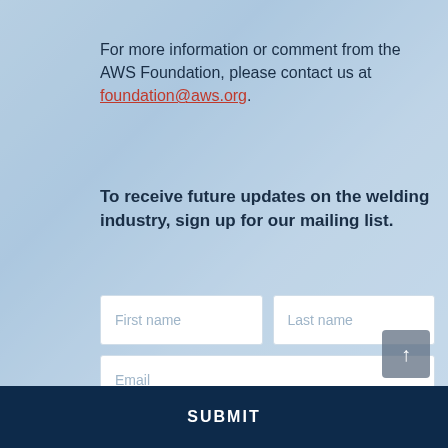For more information or comment from the AWS Foundation, please contact us at foundation@aws.org.
To receive future updates on the welding industry, sign up for our mailing list.
[Figure (other): A mailing list sign-up form with First name, Last name, and Email input fields, and a Submit button]